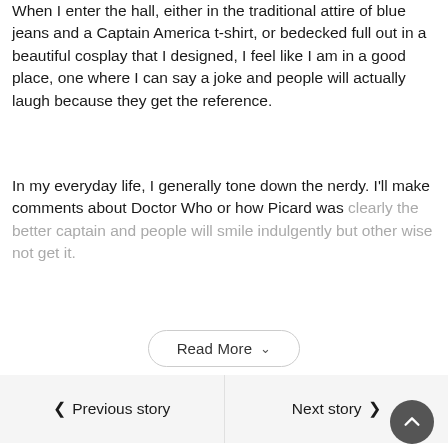When I enter the hall, either in the traditional attire of blue jeans and a Captain America t-shirt, or bedecked full out in a beautiful cosplay that I designed, I feel like I am in a good place, one where I can say a joke and people will actually laugh because they get the reference.
In my everyday life, I generally tone down the nerdy. I'll make comments about Doctor Who or how Picard was clearly the better captain and people will smile indulgently but other wise not get it.
Read More
Previous story
Next story
[Figure (screenshot): La-Z-Boy advertisement banner showing a teal sofa with decorative pillows]